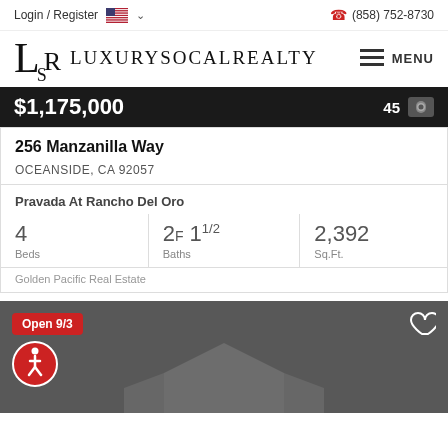Login / Register  (858) 752-8730
[Figure (logo): LuxurySoCalRealty logo with LSR monogram and full text]
$1,175,000  43
256 Manzanilla Way
OCEANSIDE, CA 92057
Pravada At Rancho Del Oro
| Beds | Baths | Sq.Ft. |
| --- | --- | --- |
| 4 | 2F 1½ | 2,392 |
Golden Pacific Real Estate
Open 9/3